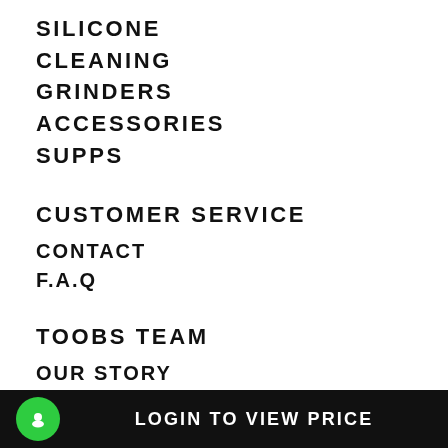SILICONE
CLEANING
GRINDERS
ACCESSORIES
SUPPS
CUSTOMER SERVICE
CONTACT
F.A.Q
TOOBS TEAM
OUR STORY
LATEST NEWS
LOGIN TO VIEW PRICE